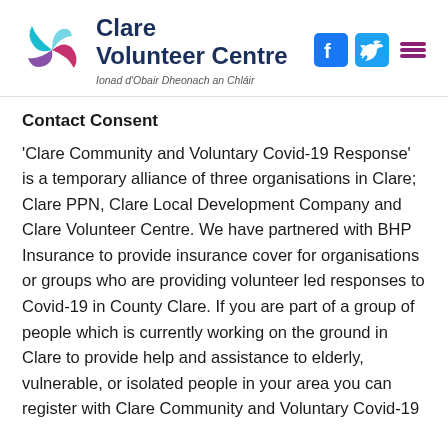[Figure (logo): Clare Volunteer Centre logo with spiral swirl icon in purple, pink, and teal, with text 'Clare Volunteer Centre' and subtitle 'Ionad d'Obair Dheonach an Chláir']
[Figure (other): Social media icons: Facebook, Twitter, and hamburger menu icon]
Contact Consent
'Clare Community and Voluntary Covid-19 Response' is a temporary alliance of three organisations in Clare; Clare PPN, Clare Local Development Company and Clare Volunteer Centre. We have partnered with BHP Insurance to provide insurance cover for organisations or groups who are providing volunteer led responses to Covid-19 in County Clare. If you are part of a group of people which is currently working on the ground in Clare to provide help and assistance to elderly, vulnerable, or isolated people in your area you can register with Clare Community and Voluntary Covid-19